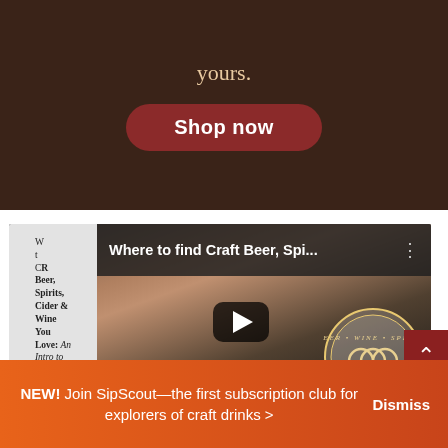[Figure (photo): Dark wood-toned banner with the word 'yours.' in cream/gold serif font and a dark red 'Shop now' button below it]
[Figure (screenshot): YouTube-style video thumbnail for 'Where to find Craft Beer, Spi...' from The Crafty Cask channel. Left sidebar shows Crafty Cask logo and channel description text. Main area shows a person pouring drink into glasses with play button overlay. Bottom right shows Crafty Cask circular watermark logo.]
NEW! Join SipScout—the first subscription club for explorers of craft drinks > Dismiss